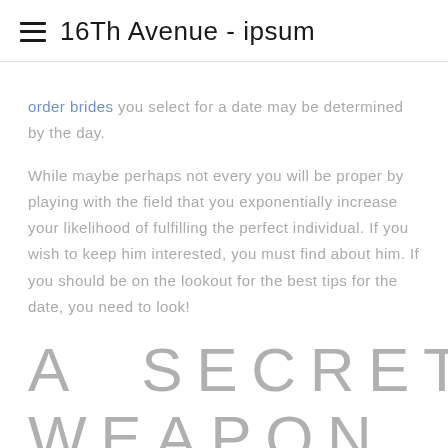≡  16Th Avenue - ipsum
order brides you select for a date may be determined by the day.
While maybe perhaps not every you will be proper by playing with the field that you exponentially increase your likelihood of fulfilling the perfect individual. If you wish to keep him interested, you must find about him. If you should be on the lookout for the best tips for the date, you need to look!
A SECRET WEAPON FOR